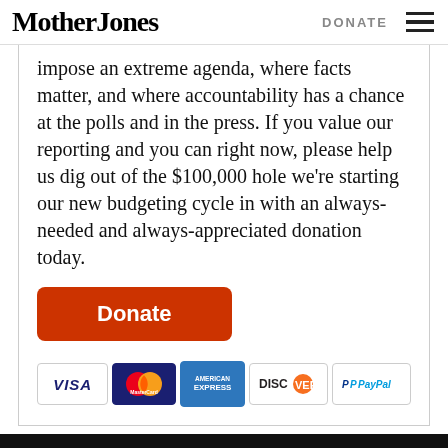Mother Jones | DONATE
impose an extreme agenda, where facts matter, and where accountability has a chance at the polls and in the press. If you value our reporting and you can right now, please help us dig out of the $100,000 hole we're starting our new budgeting cycle in with an always-needed and always-appreciated donation today.
[Figure (other): Orange Donate button followed by payment icons: VISA, MasterCard, American Express, Discover, PayPal]
More about: George W. Bush